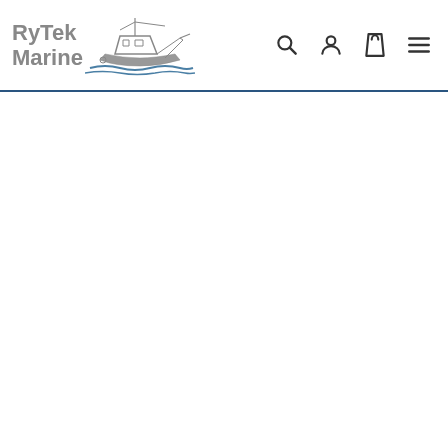[Figure (logo): RyTek Marine logo with boat illustration and text 'RyTek Marine' in grey, accompanied by navigation icons: search, user account, shopping bag, and hamburger menu]